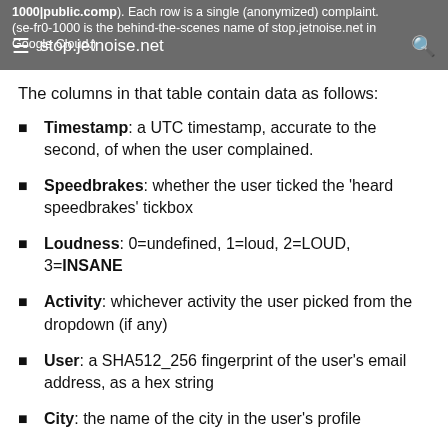stop.jetnoise.net — (se-fr0-1000 is the behind-the-scenes name of stop.jetnoise.net in Google Cloud.)
The columns in that table contain data as follows:
Timestamp: a UTC timestamp, accurate to the second, of when the user complained.
Speedbrakes: whether the user ticked the 'heard speedbrakes' tickbox
Loudness: 0=undefined, 1=loud, 2=LOUD, 3=INSANE
Activity: whichever activity the user picked from the dropdown (if any)
User: a SHA512_256 fingerprint of the user's email address, as a hex string
City: the name of the city in the user's profile
Zip: the 5-digit ZIP code in the user's profile
DatePST: the timestamp's date, in Pacific time, as a %Y-%m-%d formatted string